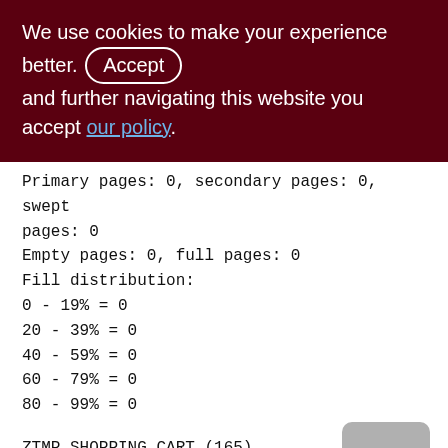We use cookies to make your experience better. By clicking Accept and further navigating this website you accept our policy.
Primary pages: 0, secondary pages: 0, swept pages: 0
Empty pages: 0, full pages: 0
Fill distribution:
0 - 19% = 0
20 - 39% = 0
40 - 59% = 0
60 - 79% = 0
80 - 99% = 0
ZTMP_SHOPPING_CART (165)
Primary pointer page: 516, Index root page: 517